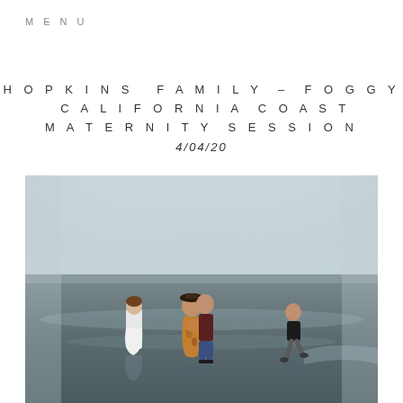MENU
HOPKINS FAMILY – FOGGY CALIFORNIA COAST MATERNITY SESSION
4/04/20
[Figure (photo): A family of four on a foggy California beach. A pregnant woman in a floral dress and a man in dark clothing stand together in the center. A young girl in a white dress stands to their left, and a young boy walks to their right. Their reflections are visible on the wet sand. The scene is misty and overcast.]